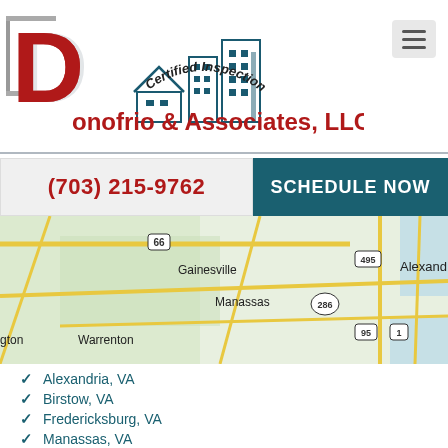[Figure (logo): Donofrio & Associates LLC logo with large red D, building/house illustration, and arc text 'Certified Inspection Experts']
(703) 215-9762
SCHEDULE NOW
[Figure (map): Road map showing Northern Virginia area with labels: Fairfax, Gainesville, Manassas, Warrenton, Alexandria, and highway markers 66, 495, 286, 95, 1]
Alexandria, VA
Birstow, VA
Fredericksburg, VA
Manassas, VA
Tysons, VA
Leesburg, VA
Washington DC